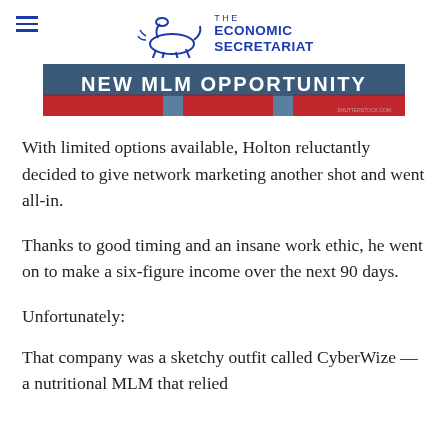THE ECONOMIC SECRETARIAT
[Figure (photo): Banner image with red and blue design reading 'NEW MLM OPPORTUNITY' in large bold white capital letters]
With limited options available, Holton reluctantly decided to give network marketing another shot and went all-in.
Thanks to good timing and an insane work ethic, he went on to make a six-figure income over the next 90 days.
Unfortunately:
That company was a sketchy outfit called CyberWize — a nutritional MLM that relied